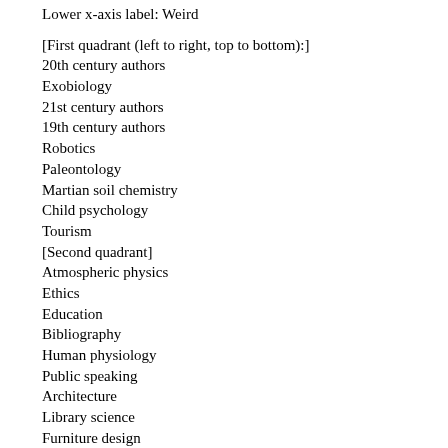Lower x-axis label: Weird
[First quadrant (left to right, top to bottom):]
20th century authors
Exobiology
21st century authors
19th century authors
Robotics
Paleontology
Martian soil chemistry
Child psychology
Tourism
[Second quadrant]
Atmospheric physics
Ethics
Education
Bibliography
Human physiology
Public speaking
Architecture
Library science
Furniture design
Culinary arts
Ergonomics
Botany